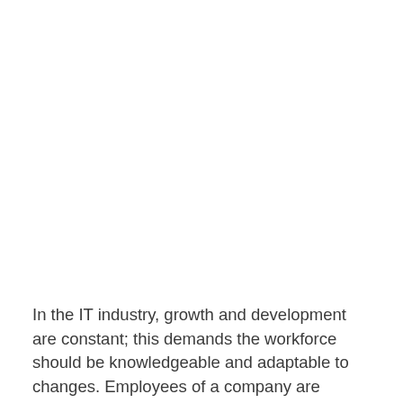In the IT industry, growth and development are constant; this demands the workforce should be knowledgeable and adaptable to changes. Employees of a company are